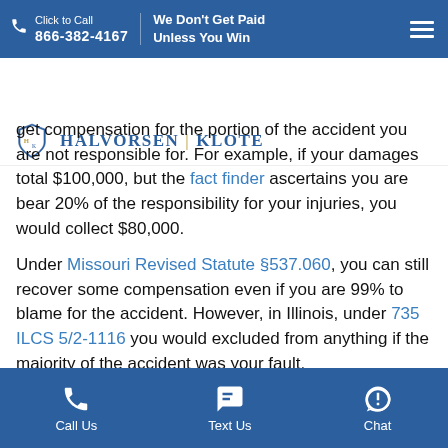Click to Call 866-382-4167 | We Don't Get Paid Unless You Win
[Figure (logo): Halvorsen Klote law firm logo with shield emblem and firm name in blue serif text]
get compensation for the portion of the accident you are not responsible for. For example, if your damages total $100,000, but the fact finder ascertains you are bear 20% of the responsibility for your injuries, you would collect $80,000.
Under Missouri Revised Statute §537.060, you can still recover some compensation even if you are 99% to blame for the accident. However, in Illinois, under 735 ILCS 5/2-1116 you would excluded from anything if the majority of the accident was your fault.
Call Us | Text Us | Chat